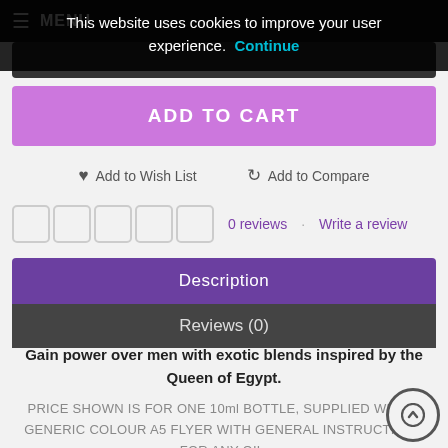This website uses cookies to improve your user experience. Continue
ADD TO CART
♥ Add to Wish List   ↻ Add to Compare
0 reviews · Write a review
Description
Reviews (0)
Gain power over men with exotic blends inspired by the Queen of Egypt.
PRICE SHOWN IS FOR ONE 10ml BOTTLE, SUPPLIED WITH A GENERIC COLOUR A5 FLYER WITH GENERAL INSTRUCTIONS FOR ANY OIL.
Directions: Use only a few drops, add to bath water, charm